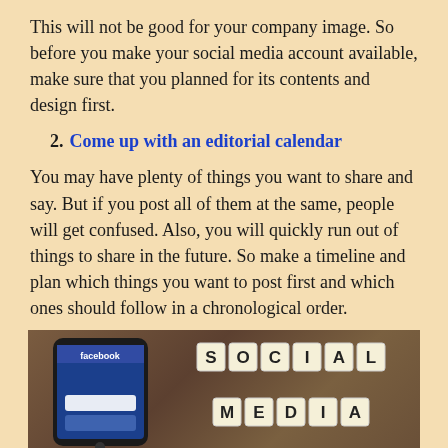This will not be good for your company image. So before you make your social media account available, make sure that you planned for its contents and design first.
2. Come up with an editorial calendar
You may have plenty of things you want to share and say. But if you post all of them at the same, people will get confused. Also, you will quickly run out of things to share in the future. So make a timeline and plan which things you want to post first and which ones should follow in a chronological order.
[Figure (photo): A smartphone showing the Facebook login screen on a wooden table, next to Scrabble tiles spelling out SOCIAL MEDIA]